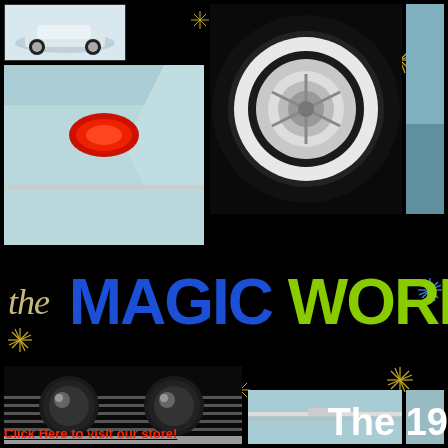[Figure (photo): Collage of classic 1960s car photos on black background with starburst decorations: top-left shows full white car and tail fin detail, top-center shows white-wall tire/wheel closeup, top-right slim panel shows sky/car, bottom-left shows dual headlights and chrome grill, bottom-center shows light blue car door panel, bottom-right slim panel.]
the MAGIC WORLD
Click Here to visit our store!
The 19